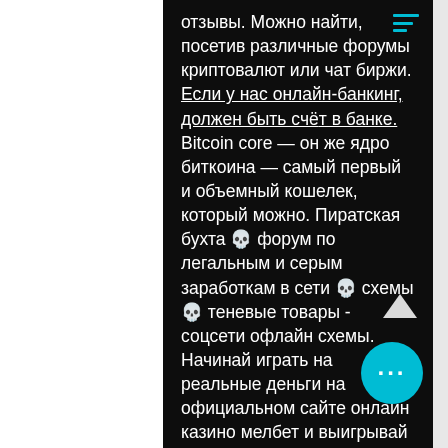отзывы. Можно найти, посетив различные форумы криптовалют или чат биржи. Если у нас онлайн-банкинг, должен быть счёт в банке. Bitcoin core — он же ядро биткоина — самый первый и объемный кошелек, который можно. Пиратская бухта 💀 форум по легальным и серым заработкам в сети 💀 схемы 💀 теневые товары - соцсети офлайн схемы. Начинай играть на реальные деньги на официальном сайте онлайн казино мелбет и выигрывай крупные суммы в популярных игровых автоматах. Вход и регистрация в Pala Interactive, LLC, was set up as an online gaming operator in 2013 in anticipation of legislation across the United States allowing real-money iGaming. The company has stated it aims to become a material market participant in the US-regulated online gaming market and PalaCasino, онлайн bitcoin казино отз форум украина. Pala Interactive also offers